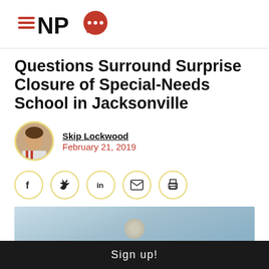NPQ logo
Questions Surround Surprise Closure of Special-Needs School in Jacksonville
Skip Lockwood
February 21, 2019
[Figure (other): Social sharing buttons: Facebook, Twitter, LinkedIn, Email, Print]
[Figure (photo): Partial article image showing a blurred photo]
Sign up!